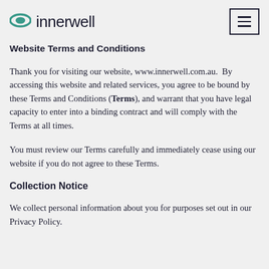innerwell
Website Terms and Conditions
Thank you for visiting our website, www.innerwell.com.au.  By accessing this website and related services, you agree to be bound by these Terms and Conditions (Terms), and warrant that you have legal capacity to enter into a binding contract and will comply with the Terms at all times.
You must review our Terms carefully and immediately cease using our website if you do not agree to these Terms.
Collection Notice
We collect personal information about you for purposes set out in our Privacy Policy.